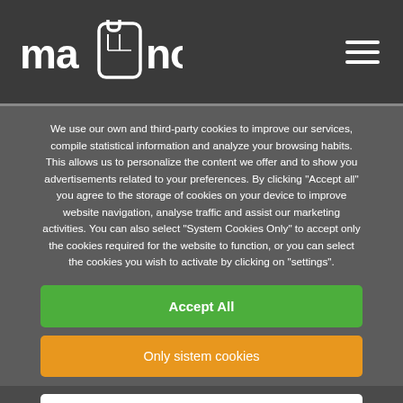[Figure (logo): Mano logo with hand/cursor icon between 'ma' and 'no' text in white on dark background]
We use our own and third-party cookies to improve our services, compile statistical information and analyze your browsing habits. This allows us to personalize the content we offer and to show you advertisements related to your preferences. By clicking "Accept all" you agree to the storage of cookies on your device to improve website navigation, analyse traffic and assist our marketing activities. You can also select "System Cookies Only" to accept only the cookies required for the website to function, or you can select the cookies you wish to activate by clicking on "settings".
Accept All
Only sistem cookies
Configuration